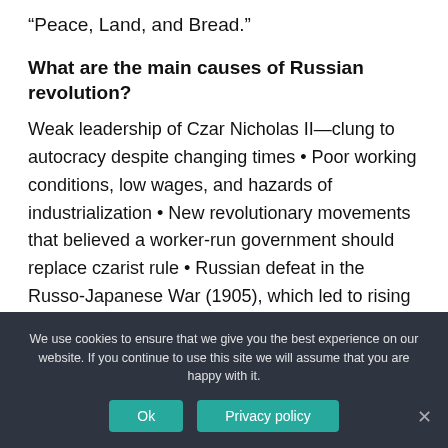“Peace, Land, and Bread.”
What are the main causes of Russian revolution?
Weak leadership of Czar Nicholas II—clung to autocracy despite changing times • Poor working conditions, low wages, and hazards of industrialization • New revolutionary movements that believed a worker-run government should replace czarist rule • Russian defeat in the Russo-Japanese War (1905), which led to rising
We use cookies to ensure that we give you the best experience on our website. If you continue to use this site we will assume that you are happy with it.